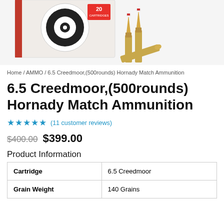[Figure (photo): Product photo of Hornady Match Ammunition box (20 cartridges) alongside brass rifle cartridges with red tips]
Home / AMMO / 6.5 Creedmoor,(500rounds) Hornady Match Ammunition
6.5 Creedmoor,(500rounds) Hornady Match Ammunition
★★★★★ (11 customer reviews)
$400.00 $399.00
Product Information
| Cartridge |  |
| --- | --- |
| Cartridge | 6.5 Creedmoor |
| Grain Weight | 140 Grains |